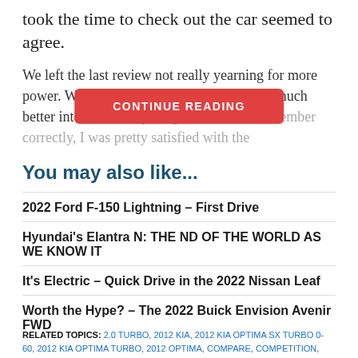took the time to check out the car seemed to agree.
We left the last review not really yearning for more power. We couldn't really see Kia making a much better interior … . If I remember correctly, I was pretty satisfied with the
You may also like...
2022 Ford F-150 Lightning – First Drive
Hyundai's Elantra N: THE ND OF THE WORLD AS WE KNOW IT
It's Electric – Quick Drive in the 2022 Nissan Leaf
Worth the Hype? – The 2022 Buick Envision Avenir FWD
RELATED TOPICS: 2.0 TURBO, 2012 KIA, 2012 KIA OPTIMA SX TURBO 0-60, 2012 KIA OPTIMA TURBO, 2012 OPTIMA, COMPARE, COMPETITION,